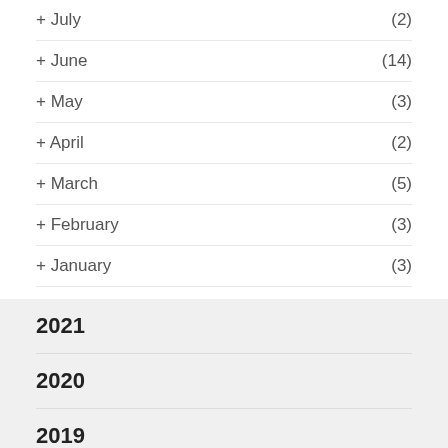+ July (2)
+ June (14)
+ May (3)
+ April (2)
+ March (5)
+ February (3)
+ January (3)
2021
2020
2019
2018
2017
[Figure (other): Advertisement banner with text DEVELOP WEBSITES and ∂G logo]